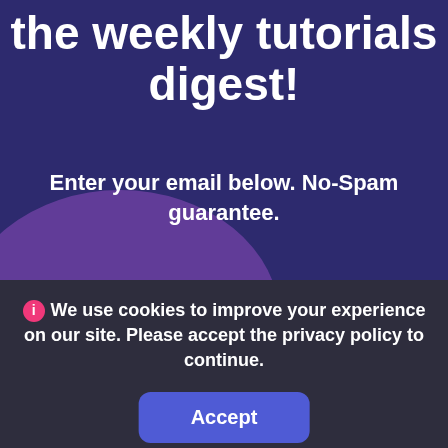the weekly tutorials digest!
Enter your email below. No-Spam guarantee.
[Figure (screenshot): Email input field with placeholder 'Enter your e-mail address' and a pink 'Get!' button]
by clicking the button you agree to the
We use cookies to improve your experience on our site. Please accept the privacy policy to continue.
Accept